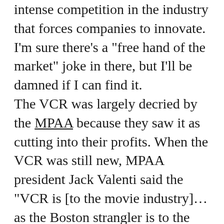intense competition in the industry that forces companies to innovate. I'm sure there's a "free hand of the market" joke in there, but I'll be damned if I can find it. The VCR was largely decried by the MPAA because they saw it as cutting into their profits. When the VCR was still new, MPAA president Jack Valenti said the "VCR is [to the movie industry]…as the Boston strangler is to the woman home alone." (which of course means that he "wasn't opposed to the VCR"). A driver of early VCR purchases was being able to watch porn movies without having to go to theaters filled with creepier people than you. Fast forward 20 years and that Boston strangler makes up a huge portion of movie studio profits.